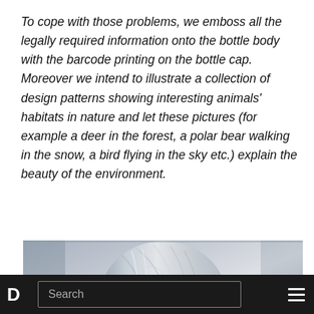To cope with those problems, we emboss all the legally required information onto the bottle body with the barcode printing on the bottle cap. Moreover we intend to illustrate a collection of design patterns showing interesting animals' habitats in nature and let these pictures (for example a deer in the forest, a polar bear walking in the snow, a bird flying in the sky etc.) explain the beauty of the environment.
[Figure (photo): Close-up photograph of an embossed glass or plastic bottle surface showing decorative nature-inspired patterns with flowing lines and animal habitat designs, rendered in silver/grey tones.]
D  Search  ≡